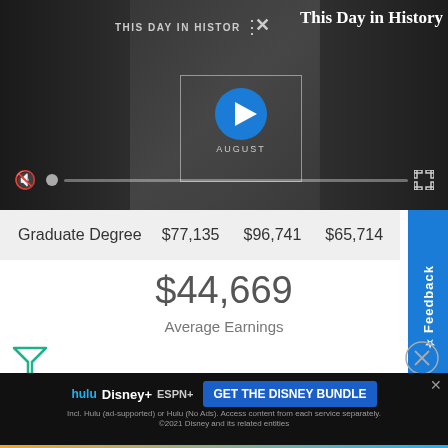[Figure (screenshot): Video player showing 'This Day in History' with a play button overlay showing '6 AUGUST', mute button, progress bar, and fullscreen icon on dark background]
This Day in History
| Graduate Degree | $77,135 | $96,741 | $65,714 |
Feedback
$44,669
Average Earnings
$52,774
[Figure (screenshot): Advertisement banner for Hulu + Disney Bundle with Disney+ and ESPN+ logos and 'GET THE DISNEY BUNDLE' call to action button]